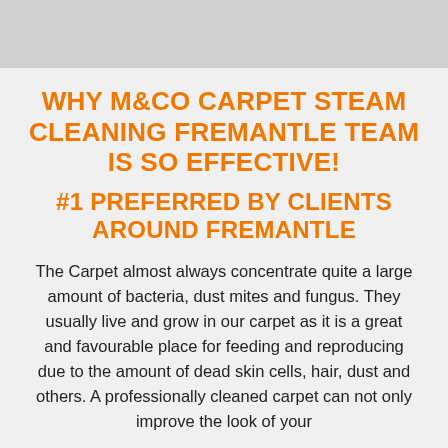WHY M&CO CARPET STEAM CLEANING FREMANTLE TEAM IS SO EFFECTIVE!
#1 PREFERRED BY CLIENTS AROUND FREMANTLE
The Carpet almost always concentrate quite a large amount of bacteria, dust mites and fungus. They usually live and grow in our carpet as it is a great and favourable place for feeding and reproducing due to the amount of dead skin cells, hair, dust and others. A professionally cleaned carpet can not only improve the look of your house, but also your health and the carpet's life